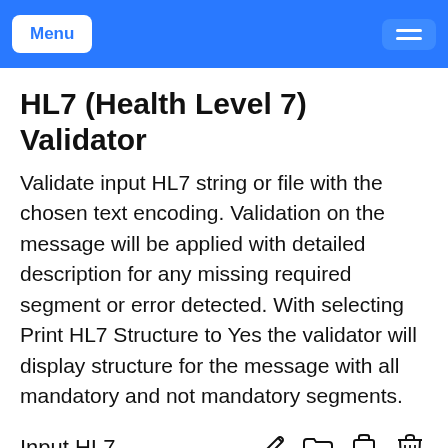Menu
HL7 (Health Level 7) Validator
Validate input HL7 string or file with the chosen text encoding. Validation on the message will be applied with detailed description for any missing required segment or error detected. With selecting Print HL7 Structure to Yes the validator will display structure for the message with all mandatory and not mandatory segments.
Input HL7